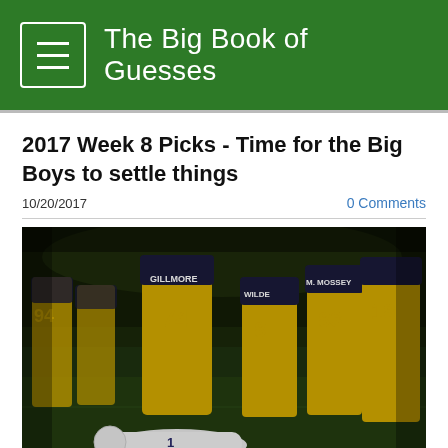The Big Book of Guesses
2017 Week 8 Picks - Time for the Big Boys to settle things
10/20/2017
0 Comments
[Figure (photo): Football players in dark navy and yellow uniforms celebrating on the field while a player in white uniform lies face-down on the turf]